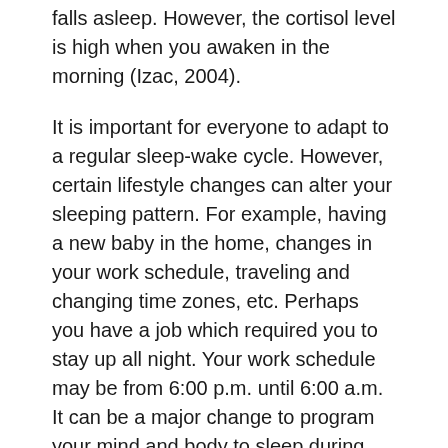falls asleep. However, the cortisol level is high when you awaken in the morning (Izac, 2004).
It is important for everyone to adapt to a regular sleep-wake cycle. However, certain lifestyle changes can alter your sleeping pattern. For example, having a new baby in the home, changes in your work schedule, traveling and changing time zones, etc. Perhaps you have a job which required you to stay up all night. Your work schedule may be from 6:00 p.m. until 6:00 a.m. It can be a major change to program your mind and body to sleep during the day and stay up all night to work. Many prefer working days or evenings compared to working overnight. Nevertheless, it is necessary to adjust to any changes in your schedule. You must still receive an appropriate amount of sleep in order to maintain health...